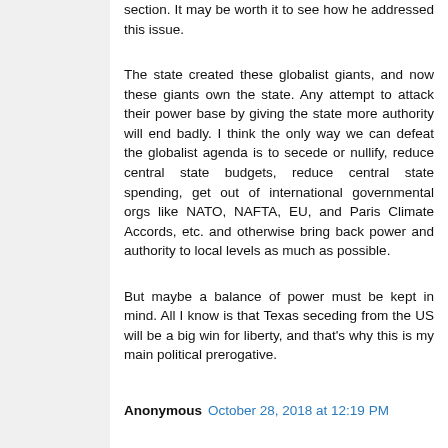section. It may be worth it to see how he addressed this issue.
The state created these globalist giants, and now these giants own the state. Any attempt to attack their power base by giving the state more authority will end badly. I think the only way we can defeat the globalist agenda is to secede or nullify, reduce central state budgets, reduce central state spending, get out of international governmental orgs like NATO, NAFTA, EU, and Paris Climate Accords, etc. and otherwise bring back power and authority to local levels as much as possible.
But maybe a balance of power must be kept in mind. All I know is that Texas seceding from the US will be a big win for liberty, and that's why this is my main political prerogative.
Anonymous October 28, 2018 at 12:19 PM